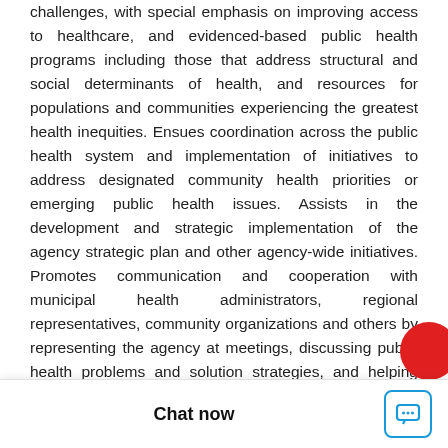challenges, with special emphasis on improving access to healthcare, and evidenced-based public health programs including those that address structural and social determinants of health, and resources for populations and communities experiencing the greatest health inequities. Ensues coordination across the public health system and implementation of initiatives to address designated community health priorities or emerging public health issues. Assists in the development and strategic implementation of the agency strategic plan and other agency-wide initiatives. Promotes communication and cooperation with municipal health administrators, regional representatives, community organizations and others by representing the agency at meetings, discussing public health problems and solution strategies, and helping establish programs and projects to address identified needs. Supports activities related to state certification and national accreditation. Develops and coordinates with services unit director funding proposals in response to f... initiatives. MINIMUM QUA...